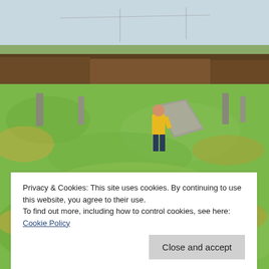[Figure (photo): Outdoor photograph of a prehistoric stone circle site on a grassy field. A person in a yellow jacket stands next to a large leaning flat stone. Several standing stones are visible in the background, along with scrubby bushes and a pale sky. In the foreground is a large rounded boulder.]
Privacy & Cookies: This site uses cookies. By continuing to use this website, you agree to their use.
To find out more, including how to control cookies, see here: Cookie Policy
Close and accept